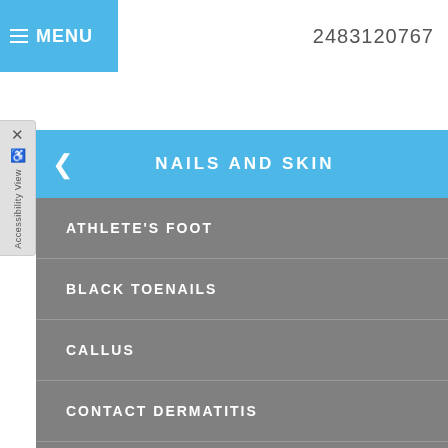≡ MENU  2483120767
✕
Accessibility View
< NAILS AND SKIN
ATHLETE'S FOOT
BLACK TOENAILS
CALLUS
CONTACT DERMATITIS
CORNS
CRACKED HEELS